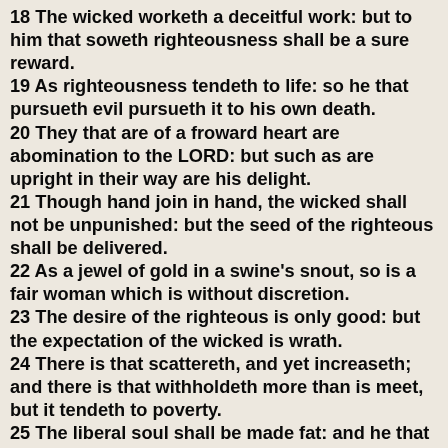18 The wicked worketh a deceitful work: but to him that soweth righteousness shall be a sure reward.
19 As righteousness tendeth to life: so he that pursueth evil pursueth it to his own death.
20 They that are of a froward heart are abomination to the LORD: but such as are upright in their way are his delight.
21 Though hand join in hand, the wicked shall not be unpunished: but the seed of the righteous shall be delivered.
22 As a jewel of gold in a swine's snout, so is a fair woman which is without discretion.
23 The desire of the righteous is only good: but the expectation of the wicked is wrath.
24 There is that scattereth, and yet increaseth; and there is that withholdeth more than is meet, but it tendeth to poverty.
25 The liberal soul shall be made fat: and he that watereth shall be watered also himself.
26 He that withholdeth corn, the people shall curse him: but blessing shall be upon the head of him that selleth it.
27 He that diligently seeketh good procureth favour: but he that seeketh mischief, it shall come unto him.
28 He that trusteth in his riches shall fall: but the righteous shall flourish as a branch.
29 He that troubleth his own house shall inherit the